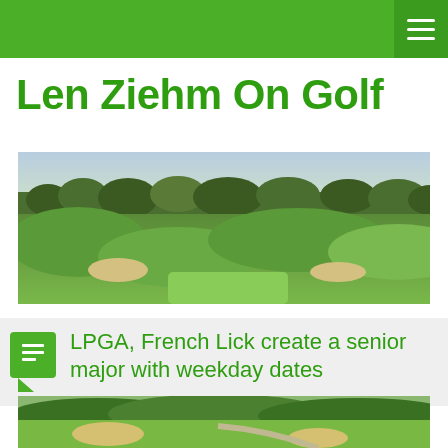Len Ziehm On Golf
[Figure (photo): Aerial view of a golf course with rolling green hills, sand bunkers, and trees in the background under a light sky.]
LPGA, French Lick create a senior major with weekday dates
[Figure (photo): Golf course fairway with lush green grass, sand traps, a winding cart path, and forested hills in the background.]